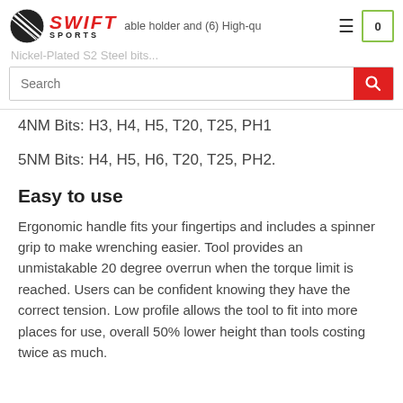Swift Sports | Bits included: detachable holder and (6) High-quality Nickel-Plated S2 Steel bits...
4NM Bits: H3, H4, H5, T20, T25, PH1
5NM Bits: H4, H5, H6, T20, T25, PH2.
Easy to use
Ergonomic handle fits your fingertips and includes a spinner grip to make wrenching easier. Tool provides an unmistakable 20 degree overrun when the torque limit is reached. Users can be confident knowing they have the correct tension. Low profile allows the tool to fit into more places for use, overall 50% lower height than tools costing twice as much.